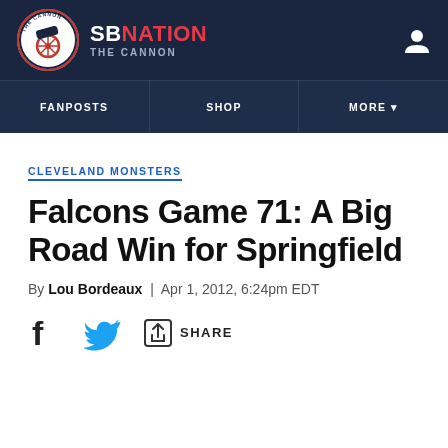SB NATION - THE CANNON
CLEVELAND MONSTERS
Falcons Game 71: A Big Road Win for Springfield
By Lou Bordeaux | Apr 1, 2012, 6:24pm EDT
SHARE